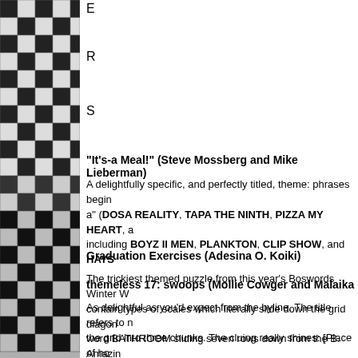[Figure (photo): Crossword puzzle grid photo showing black and white squares, partially visible on the left side of the page]
E
R
S
"It's-a Meal!" (Steve Mossberg and Mike Lieberman)
A delightfully specific, and perfectly titled, theme: phrases beginning with a" (DOSA REALITY, TAPA THE NINTH, PIZZA MY HEART, and others) including BOYZ II MEN, PLANKTON, CLIP SHOW, and HAYS...
Graduation Exercises (Adesina O. Koiki)
The trickiest themed puzzle from this year's Boswords Winter W... contain types of scales which literally slide down the grid diagonally... word BATHROOM sliding seven rows down from the B. Amazin... all the letters in the scale words are used in three words, instea...
themeless 17: swoops (Mollie Cowger and Malaika Handa)
As delightful as you'd expect from the byline. The title refers to... the grid into three chunks. The cluing really shines: [Place of ho... [Purchase made in anticipation of getting A's] for TRAINING BR... PSST.